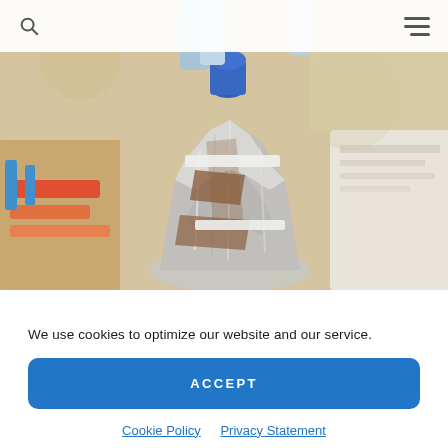[Figure (photo): Close-up photograph of wrapped/foil-covered items and medical or laboratory supplies on a table, with a blue-capped bottle in the background.]
We use cookies to optimize our website and our service.
ACCEPT
Cookie Policy   Privacy Statement